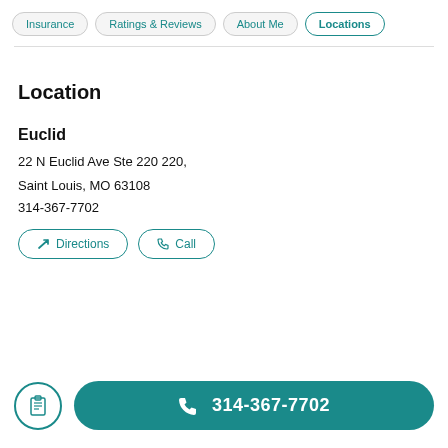Insurance | Ratings & Reviews | About Me | Locations
Location
Euclid
22 N Euclid Ave Ste 220 220, Saint Louis, MO 63108
314-367-7702
Directions
Call
314-367-7702